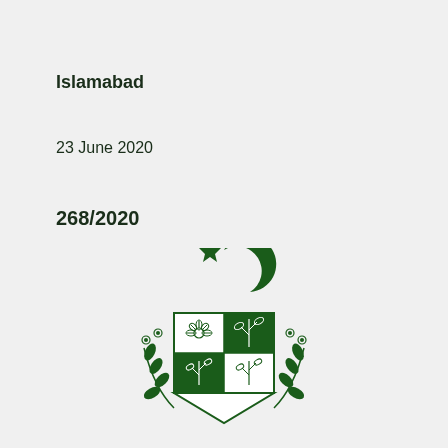Islamabad
23 June 2020
268/2020
[Figure (logo): Pakistan government emblem/coat of arms showing crescent and star above a shield with floral motifs flanked by laurel branches, rendered in dark green]